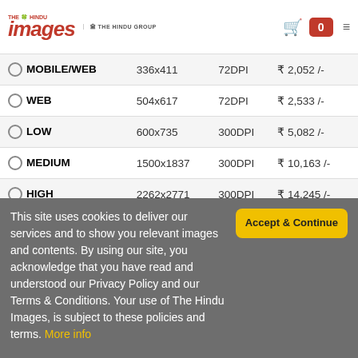THE HINDU IMAGES | THE HINDU GROUP | Cart: 0
|  | Dimensions | DPI | Price |
| --- | --- | --- | --- |
| MOBILE/WEB | 336x411 | 72DPI | ₹ 2,052 /- |
| WEB | 504x617 | 72DPI | ₹ 2,533 /- |
| LOW | 600x735 | 300DPI | ₹ 5,082 /- |
| MEDIUM | 1500x1837 | 300DPI | ₹ 10,163 /- |
| HIGH | 2262x2771 | 300DPI | ₹ 14,245 /- |
Ensure that you have chosen the right dimension for your requirement
ADD TO WISH LIST
This site uses cookies to deliver our services and to show you relevant images and contents. By using our site, you acknowledge that you have read and understood our Privacy Policy and our Terms & Conditions. Your use of The Hindu Images, is subject to these policies and terms. More info